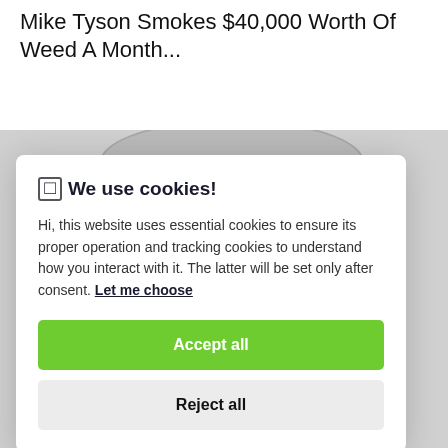Mike Tyson Smokes $40,000 Worth Of Weed A Month...
[Figure (photo): Background photo partially visible behind a cookie consent modal dialog. Shows what appears to be a circular/decorative object with blue coloring visible at bottom.]
🍪 We use cookies!
Hi, this website uses essential cookies to ensure its proper operation and tracking cookies to understand how you interact with it. The latter will be set only after consent. Let me choose
Accept all
Reject all